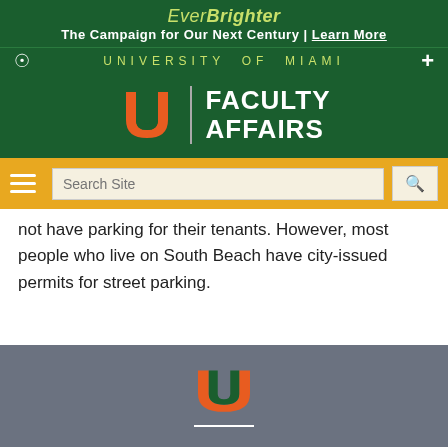EverBrighter
The Campaign for Our Next Century | Learn More
UNIVERSITY OF MIAMI
[Figure (logo): University of Miami Faculty Affairs header with U logo and text FACULTY AFFAIRS on green background]
not have parking for their tenants. However, most people who live on South Beach have city-issued permits for street parking.
University of Miami logo footer on gray background